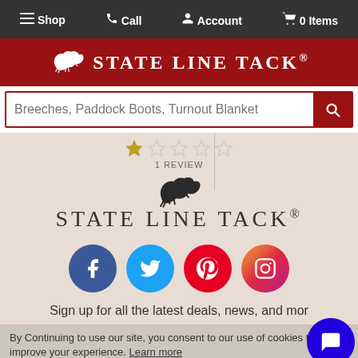Shop  Call  Account  0 Items
[Figure (logo): State Line Tack logo with horse icon on red background]
Breeches, Paddock Boots, Turnout Blanket
1 REVIEW
[Figure (logo): State Line Tack brand logo with running horse silhouette and text STATE LINE TACK®]
[Figure (infographic): Social media icons: Facebook, Twitter, Pinterest, Instagram]
Sign up for all the latest deals, news, and mor
By Continuing to use our site, you consent to our use of cookies to improve your experience. Learn more
Order Support  Learn More